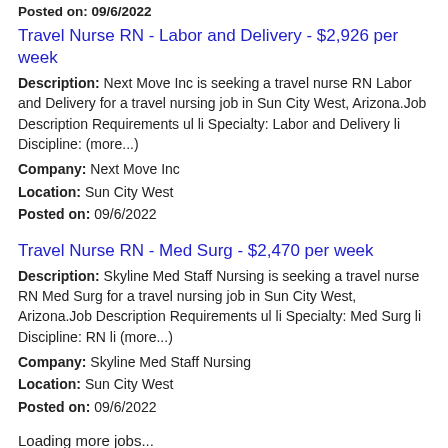Posted on: 09/6/2022
Travel Nurse RN - Labor and Delivery - $2,926 per week
Description: Next Move Inc is seeking a travel nurse RN Labor and Delivery for a travel nursing job in Sun City West, Arizona.Job Description Requirements ul li Specialty: Labor and Delivery li Discipline: (more...)
Company: Next Move Inc
Location: Sun City West
Posted on: 09/6/2022
Travel Nurse RN - Med Surg - $2,470 per week
Description: Skyline Med Staff Nursing is seeking a travel nurse RN Med Surg for a travel nursing job in Sun City West, Arizona.Job Description Requirements ul li Specialty: Med Surg li Discipline: RN li (more...)
Company: Skyline Med Staff Nursing
Location: Sun City West
Posted on: 09/6/2022
Loading more jobs...
Log In or Create An Account